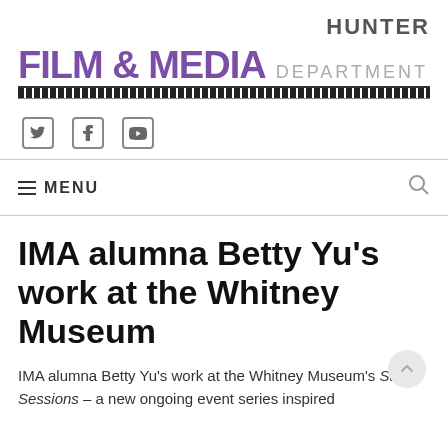HUNTER
FILM & MEDIA DEPARTMENT
[Figure (illustration): Film strip decorative divider below FILM & MEDIA DEPARTMENT heading]
[Figure (illustration): Social media icons: Twitter, Facebook, YouTube]
MENU
IMA alumna Betty Yu’s work at the Whitney Museum
IMA alumna Betty Yu’s work at the Whitney Museum’s Study Sessions – a new ongoing event series inspired